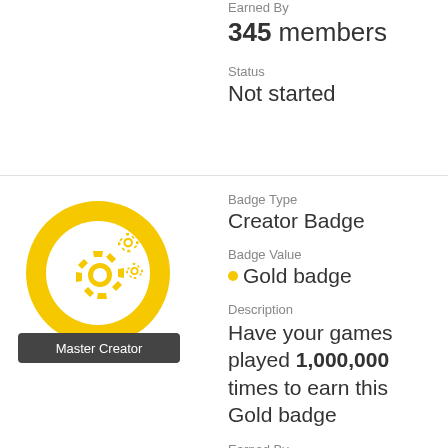Earned By
345 members
Status
Not started
[Figure (illustration): Master Creator badge: yellow circle with gear icons inside, dark tooltip label reading 'Master Creator']
Badge Type
Creator Badge
Badge Value
● Gold badge
Description
Have your games played 1,000,000 times to earn this Gold badge
Earned By
27...